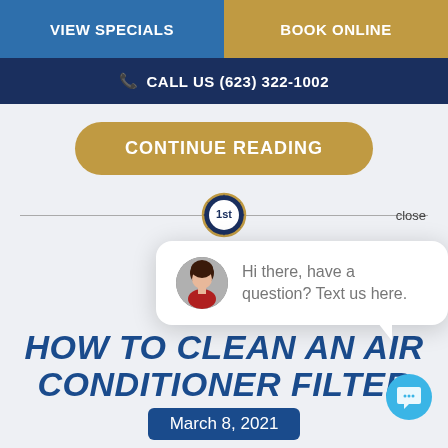VIEW SPECIALS | BOOK ONLINE
CALL US (623) 322-1002
CONTINUE READING
[Figure (logo): 1st place badge/seal icon with gear border]
close
[Figure (screenshot): Chat popup with female avatar photo and text: Hi there, have a question? Text us here.]
HOW TO CLEAN AN AIR CONDITIONER FILTER
March 8, 2021